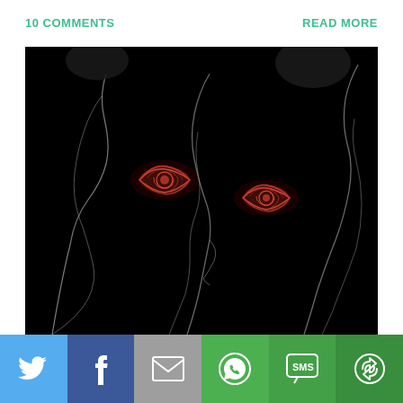10 COMMENTS
READ MORE
[Figure (illustration): Dark illustration of a figure with glowing red eyes against a black background, with faint white outlines of faces/profiles.]
[Figure (infographic): Social sharing bar with Twitter, Facebook, Email, WhatsApp, SMS, and Share buttons.]